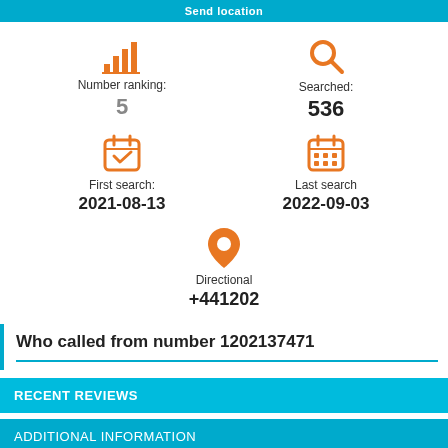Send location
Number ranking: 5
Searched: 536
First search: 2021-08-13
Last search 2022-09-03
Directional +441202
Who called from number 1202137471
RECENT REVIEWS
ADDITIONAL INFORMATION